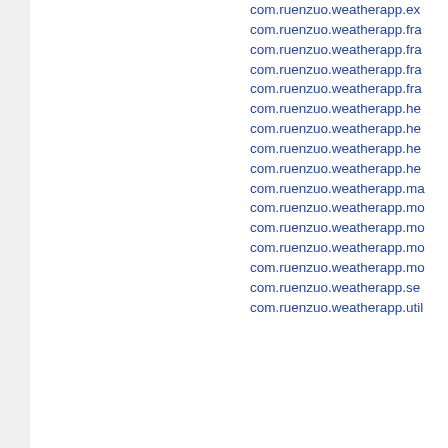com.ruenzuo.weatherapp.ex...
com.ruenzuo.weatherapp.fra...
com.ruenzuo.weatherapp.fra...
com.ruenzuo.weatherapp.fra...
com.ruenzuo.weatherapp.fra...
com.ruenzuo.weatherapp.he...
com.ruenzuo.weatherapp.he...
com.ruenzuo.weatherapp.he...
com.ruenzuo.weatherapp.he...
com.ruenzuo.weatherapp.ma...
com.ruenzuo.weatherapp.mo...
com.ruenzuo.weatherapp.mo...
com.ruenzuo.weatherapp.mo...
com.ruenzuo.weatherapp.mo...
com.ruenzuo.weatherapp.se...
com.ruenzuo.weatherapp.util...